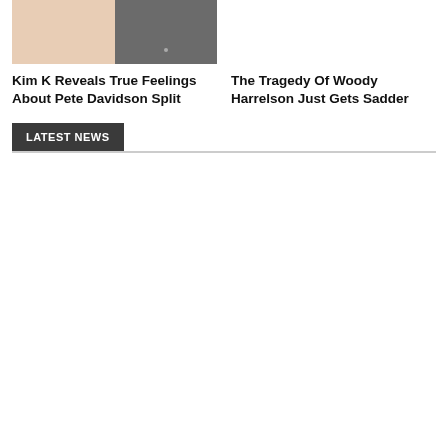[Figure (photo): Left thumbnail: two-panel image, left panel showing a person in beige/cream clothing, right panel showing a person in a dark grey shirt against grey background]
Kim K Reveals True Feelings About Pete Davidson Split
[Figure (photo): Right thumbnail: white/blank area]
The Tragedy Of Woody Harrelson Just Gets Sadder
LATEST NEWS